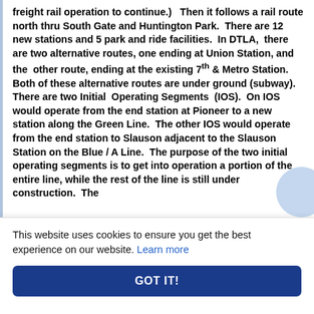freight rail operation to continue.)   Then it follows a rail route north thru South Gate and Huntington Park.  There are 12 new stations and 5 park and ride facilities.  In DTLA,  there are two alternative routes, one ending at Union Station, and the  other route, ending at the existing 7th & Metro Station.  Both of these alternative routes are under ground (subway).  There are two Initial  Operating Segments  (IOS).  On IOS would operate from the end station at Pioneer to a new station along the Green Line.  The other IOS would operate from the end station to Slauson adjacent to the Slauson Station on the Blue / A Line.  The purpose of the two initial operating segments is to get into operation a portion of the entire line, while the rest of the line is still under construction.  The
This website uses cookies to ensure you get the best experience on our website. Learn more
GOT IT!